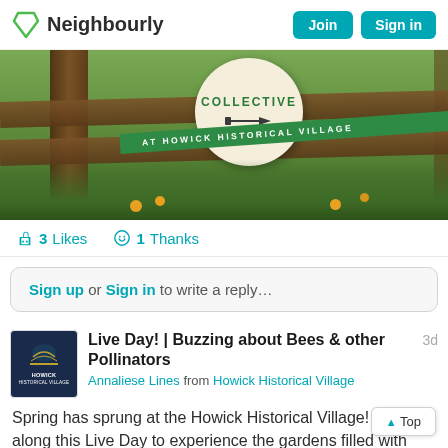Neighbourly — Join | Sign in
[Figure (photo): Garden scene at Howick Historical Village with wooden fence, circular sign reading 'Collective' with shovel icon, green ribbon banner reading 'AT HOWICK HISTORICAL VILLAGE', and flowering plants in background]
3 Likes   1 Thanks
Sign up or Sign in to write a reply…
Live Day! | Buzzing about Bees & other Pollinators
Annaliese Lines from Howick Historical Village
Spring has sprung at the Howick Historical Village! Come along this Live Day to experience the gardens filled with colour and b...